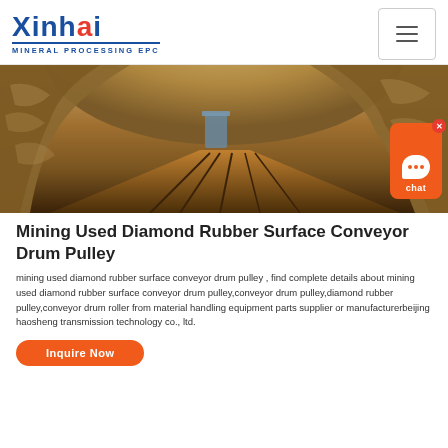Xinhai MINERAL PROCESSING EPC
[Figure (photo): Underground mine tunnel with rocky walls and wooden floor tracks, warm orange/brown tones, with a bucket or container visible in the background]
Mining Used Diamond Rubber Surface Conveyor Drum Pulley
mining used diamond rubber surface conveyor drum pulley , find complete details about mining used diamond rubber surface conveyor drum pulley,conveyor drum pulley,diamond rubber pulley,conveyor drum roller from material handling equipment parts supplier or manufacturerbeijing haosheng transmission technology co., ltd.
Inquire Now